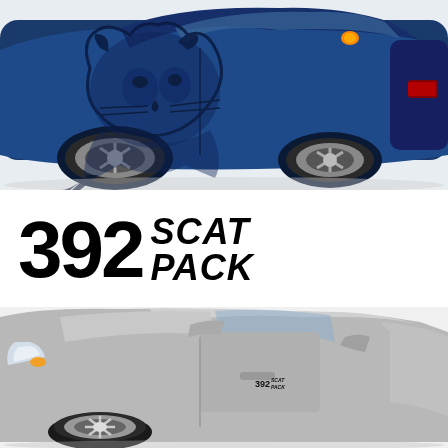[Figure (photo): Blue Dodge Charger sedan with a large black lion/wildcat decal graphic on the side door panel. The car is shown from a side angle, with chrome wheels visible. An orange turn signal is lit on the front fender.]
[Figure (logo): 392 SCAT PACK logo in bold black text. '392' in very large block letters, followed by 'SCAT' and 'PACK' stacked in large bold italic letters.]
[Figure (photo): Silver Dodge Charger sedan shown from a front three-quarter angle. A small '392 SCAT PACK' decal sticker is visible on the lower front door/fender area. The car has chrome multi-spoke wheels.]